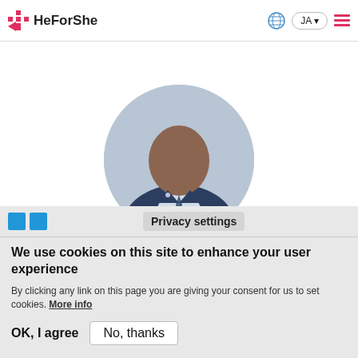HeForShe
[Figure (photo): Circular profile photo of a man in a dark blue suit and tie]
Privacy settings
We use cookies on this site to enhance your user experience
By clicking any link on this page you are giving your consent for us to set cookies. More info
OK, I agree
No, thanks